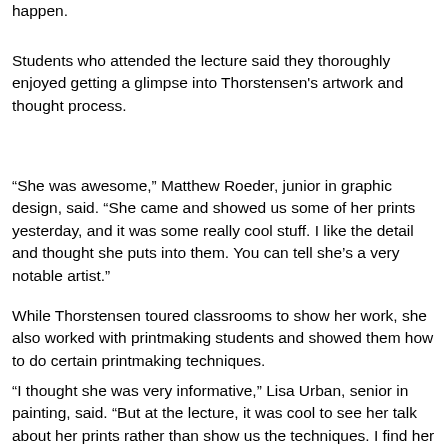happen.
Students who attended the lecture said they thoroughly enjoyed getting a glimpse into Thorstensen's artwork and thought process.
“She was awesome,” Matthew Roeder, junior in graphic design, said. “She came and showed us some of her prints yesterday, and it was some really cool stuff. I like the detail and thought she puts into them. You can tell she’s a very notable artist.”
While Thorstensen toured classrooms to show her work, she also worked with printmaking students and showed them how to do certain printmaking techniques.
“I thought she was very informative,” Lisa Urban, senior in painting, said. “But at the lecture, it was cool to see her talk about her prints rather than show us the techniques. I find her